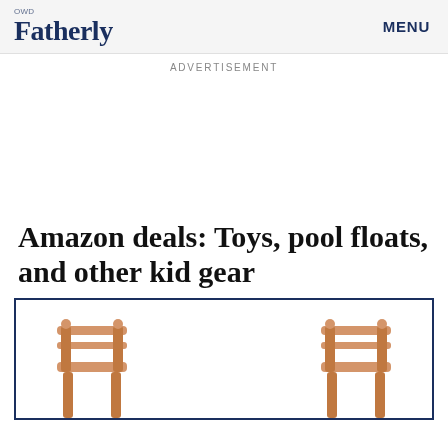OWD Fatherly | MENU
ADVERTISEMENT
Amazon deals: Toys, pool floats, and other kid gear
[Figure (photo): Product box with border showing wooden children's chairs — two visible at the bottom left and right corners of a bordered rectangle]